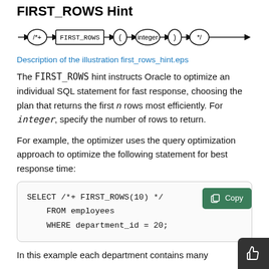FIRST_ROWS Hint
[Figure (flowchart): Railroad diagram showing syntax: arrow -> (/*+) -> [FIRST_ROWS] -> ( -> (integer) -> ) -> (*/) -> arrow]
Description of the illustration first_rows_hint.eps
The FIRST_ROWS hint instructs Oracle to optimize an individual SQL statement for fast response, choosing the plan that returns the first n rows most efficiently. For integer, specify the number of rows to return.
For example, the optimizer uses the query optimization approach to optimize the following statement for best response time:
SELECT /*+ FIRST_ROWS(10) */
    FROM employees
    WHERE department_id = 20;
In this example each department contains many